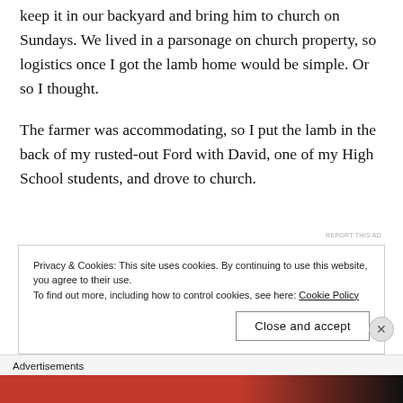keep it in our backyard and bring him to church on Sundays. We lived in a parsonage on church property, so logistics once I got the lamb home would be simple. Or so I thought.
The farmer was accommodating, so I put the lamb in the back of my rusted-out Ford with David, one of my High School students, and drove to church.
REPORT THIS AD
Privacy & Cookies: This site uses cookies. By continuing to use this website, you agree to their use.
To find out more, including how to control cookies, see here: Cookie Policy
Close and accept
Advertisements